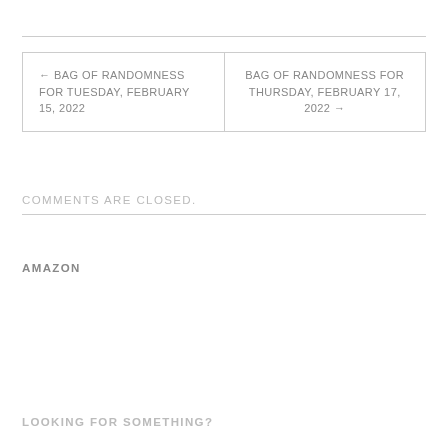| ← BAG OF RANDOMNESS FOR TUESDAY, FEBRUARY 15, 2022 | BAG OF RANDOMNESS FOR THURSDAY, FEBRUARY 17, 2022 → |
COMMENTS ARE CLOSED.
AMAZON
LOOKING FOR SOMETHING?